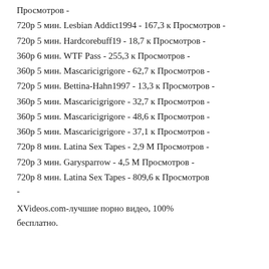Просмотров -
720р 5 мин. Lesbian Addict1994 - 167,3 к Просмотров -
720р 5 мин. Hardcorebuff19 - 18,7 к Просмотров -
360р 6 мин. WTF Pass - 255,3 к Просмотров -
360р 5 мин. Mascaricigrigore - 62,7 к Просмотров -
720р 5 мин. Bettina-Hahn1997 - 13,3 к Просмотров -
360р 5 мин. Mascaricigrigore - 32,7 к Просмотров -
360р 5 мин. Mascaricigrigore - 48,6 к Просмотров -
360р 5 мин. Mascaricigrigore - 37,1 к Просмотров -
720р 8 мин. Latina Sex Tapes - 2,9 М Просмотров -
720р 3 мин. Garysparrow - 4,5 М Просмотров -
720р 8 мин. Latina Sex Tapes - 809,6 к Просмотров -
-
XVideos.com-лучшие порно видео, 100% бесплатно.